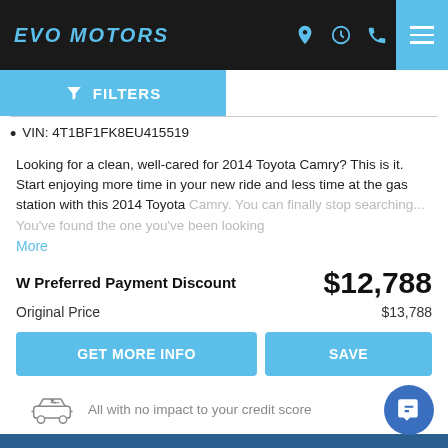EVO MOTORS
FILTERS
VIN: 4T1BF1FK8EU415519
Looking for a clean, well-cared for 2014 Toyota Camry? This is it. Start enjoying more time in your new ride and less time at the gas station with this 2014 Toyota Camry. You can finally stop searching... You've found the one you've been looking
More
W Preferred Payment Discount  $12,788
Original Price  $13,788
GET MORE INFO  SAVE
All with no impact to your credit score
Estimate financing